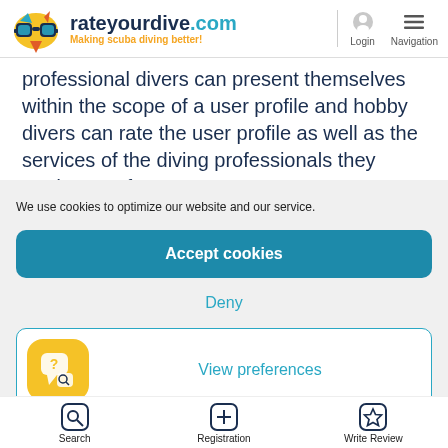rateyourdive.com — Making scuba diving better!
professional divers can present themselves within the scope of a user profile and hobby divers can rate the user profile as well as the services of the diving professionals they made use of.
We use cookies to optimize our website and our service.
Accept cookies
Deny
View preferences